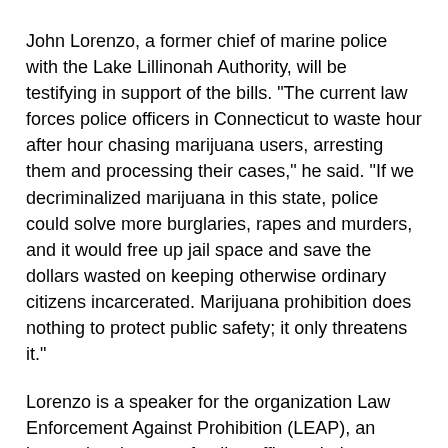John Lorenzo, a former chief of marine police with the Lake Lillinonah Authority, will be testifying in support of the bills. "The current law forces police officers in Connecticut to waste hour after hour chasing marijuana users, arresting them and processing their cases," he said. "If we decriminalized marijuana in this state, police could solve more burglaries, rapes and murders, and it would free up jail space and save the dollars wasted on keeping otherwise ordinary citizens incarcerated. Marijuana prohibition does nothing to protect public safety; it only threatens it."
Lorenzo is a speaker for the organization Law Enforcement Against Prohibition (LEAP), an international group of police officers, judges, corrections officials, border agents and other criminal justice professionals who have witnessed the failures of the so-called "war on drugs" firsthand.
In addition to the bills decriminalizing possession of marijuana, the committee will also hear bills to legalize the medical use of marijuana for people whose doctors say it can help them. In passing those bills, Raised Bill No. 6566